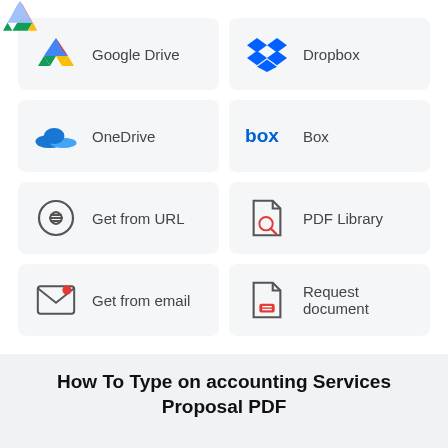[Figure (screenshot): A grid of 8 cloud storage and document source options: Google Drive, Dropbox, OneDrive, Box, Get from URL, PDF Library, Get from email, Request document]
How To Type on accounting Services Proposal PDF